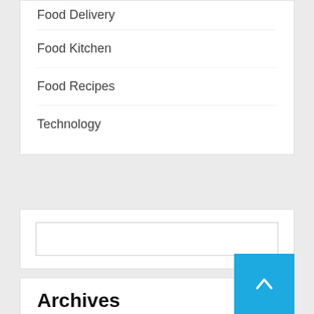Food Delivery
Food Kitchen
Food Recipes
Technology
(search input box)
Archives
August 2022
July 2022
June 2022